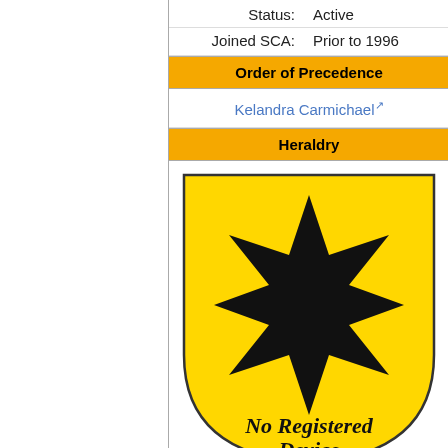Status: Active
Joined SCA: Prior to 1996
Order of Precedence
Kelandra Carmichael [external link]
Heraldry
[Figure (illustration): Heraldic shield (or/yellow background) with a large black 8-pointed star, and italic text reading 'No Registered Device']